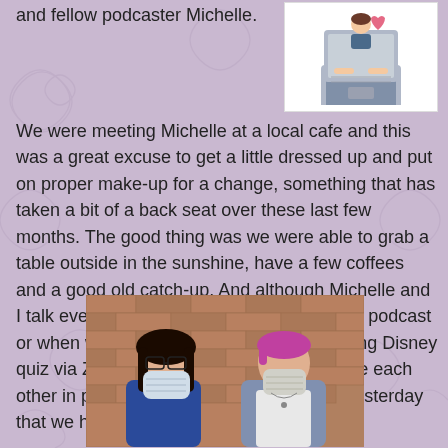and fellow podcaster Michelle.
[Figure (illustration): Cartoon illustration of a person sitting at a laptop computer with a heart above it, on a white background]
We were meeting Michelle at a local cafe and this was a great excuse to get a little dressed up and put on proper make-up for a change, something that has taken a bit of a back seat over these last few months. The good thing was we were able to grab a table outside in the sunshine, have a few coffees and a good old catch-up. And although Michelle and I talk every week either when we record our podcast or when we have our weekly Sunday evening Disney quiz via Zoom it was so good to actually see each other in person, and it felt like it was only yesterday that we had seen each other.
[Figure (photo): Photo of two women wearing face masks standing in front of a brick wall. One has long dark hair and glasses, wearing a blue top; the other has short pink/magenta hair wearing a denim jacket.]